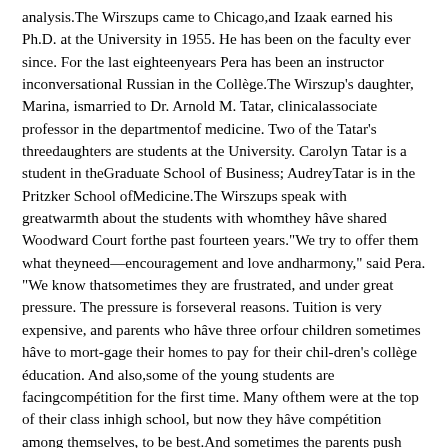analysis.The Wirszups came to Chicago,and Izaak earned his Ph.D. at the University in 1955. He has been on the faculty ever since. For the last eighteenyears Pera has been an instructor inconversational Russian in the Collège.The Wirszup's daughter, Marina, ismarried to Dr. Arnold M. Tatar, clinicalassociate professor in the departmentof medicine. Two of the Tatar's threedaughters are students at the University. Carolyn Tatar is a student in theGraduate School of Business; AudreyTatar is in the Pritzker School ofMedicine.The Wirszups speak with greatwarmth about the students with whomthey hâve shared Woodward Court forthe past fourteen years."We try to offer them what theyneed—encouragement and love andharmony," said Pera. "We know thatsometimes they are frustrated, and under great pressure. The pressure is forseveral reasons. Tuition is very expensive, and parents who hâve three orfour children sometimes hâve to mort-gage their homes to pay for their chil-dren's collège éducation. And also,some of the young students are facingcompétition for the first time. Many ofthem were at the top of their class inhigh school, but now they hâve compétition among themselves, to be best.And sometimes the parents push toohard, wanting them to become profes-sionals, to plan to go to médical schoolfrom their first day hère. After students are hère for a brief time, theymay realize they don't want to be doc-tors, or lawyers. And they are afraid toface their parents, and tell them. Theycorne to me, and I say, 'But there are somany beautiful professions besides be- ing a doctor, you can